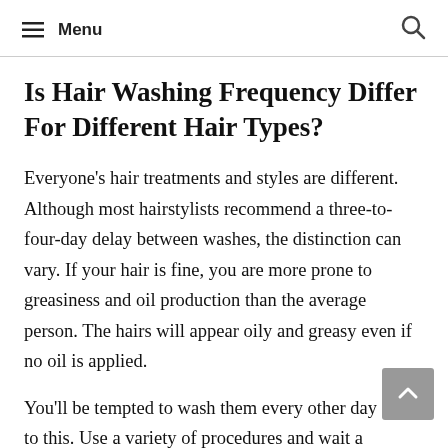≡ Menu
Is Hair Washing Frequency Differ For Different Hair Types?
Everyone's hair treatments and styles are different. Although most hairstylists recommend a three-to-four-day delay between washes, the distinction can vary. If your hair is fine, you are more prone to greasiness and oil production than the average person. The hairs will appear oily and greasy even if no oil is applied.
You'll be tempted to wash them every other day due to this. Use a variety of procedures and wait a